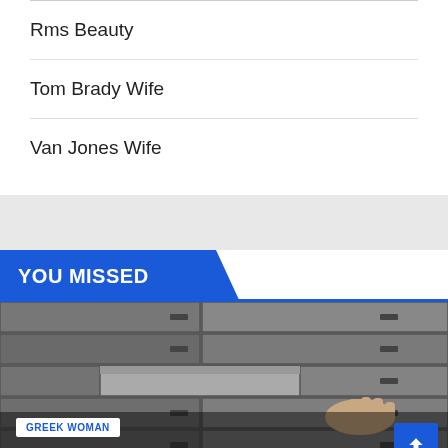Rms Beauty
Tom Brady Wife
Van Jones Wife
YOU MISSED
[Figure (photo): Photo of safe deposit boxes with a hand inserting or turning a key, black and white tones]
GREEK WOMAN
Things to apprehend about